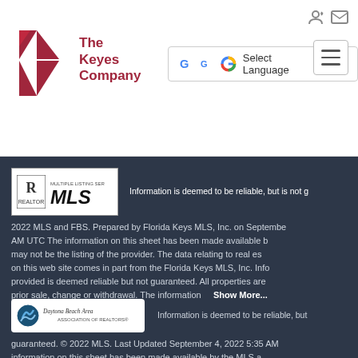[Figure (logo): The Keyes Company real estate logo with red K symbol and company name]
[Figure (screenshot): Google Translate Select Language widget with dropdown arrow]
[Figure (other): Hamburger menu button with three horizontal lines]
[Figure (logo): REALTOR MLS logo box showing IR Realtor and Multiple Listing Service MLS logos]
Information is deemed to be reliable, but is not g... 2022 MLS and FBS. Prepared by Florida Keys MLS, Inc. on September... AM UTC The information on this sheet has been made available b... may not be the listing of the provider. The data relating to real es... on this web site comes in part from the Florida Keys MLS, Inc. Info... provided is deemed reliable but not guaranteed. All properties are... prior sale, change or withdrawal. The information
Show More...
[Figure (logo): Daytona Beach Area Association of Realtors logo]
Information is deemed to be reliable, but... guaranteed. © 2022 MLS. Last Updated September 4, 2022 5:35 AM... information on this sheet has been made available by the MLS a...